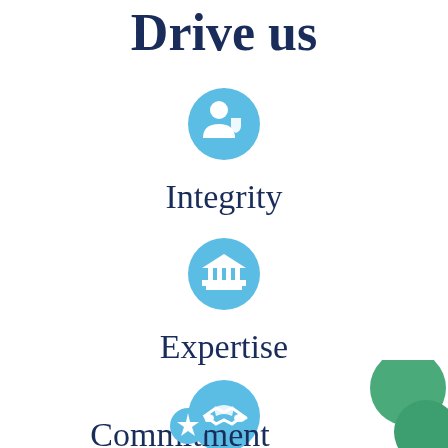Drive us
[Figure (infographic): Blue circular icon with a person/shield symbol representing Integrity]
Integrity
[Figure (infographic): Blue circular icon with a bank/institution building representing Expertise]
Expertise
[Figure (infographic): Blue circular icon with a handshake representing Commitment]
Commitment
[Figure (illustration): Two overlapping green decorative circles in the bottom right corner]
[Figure (infographic): Partial blue circular icon visible at the bottom, cut off]